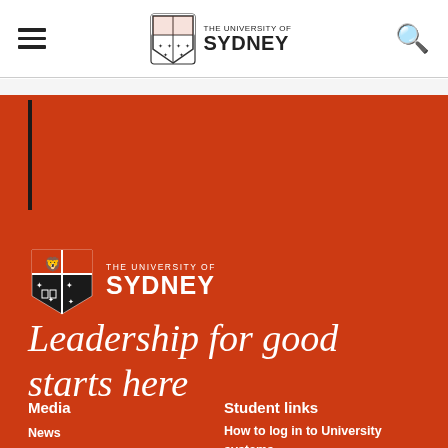THE UNIVERSITY OF SYDNEY — navigation header
[Figure (logo): University of Sydney crest and wordmark footer logo on red background]
Leadership for good starts here
Media
News
Find an expert
Student links
How to log in to University systems